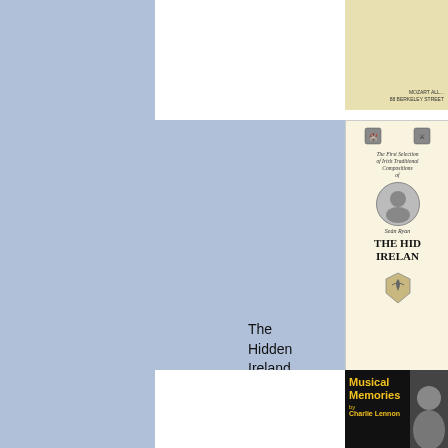[Figure (illustration): Blue sidebar panel on the left side of the page]
[Figure (photo): Partial view of a yellowish book cover in top right with text 'MOZART ALL... 88 BERKELEY STREET']
HI-b
The Hidden Ireland, Sean Ryan (book)
[Figure (illustration): Book cover for 'The Hidden Ireland' by Sean Ryan - cream/yellow colored cover with shields, portrait of Sean Ryan, italic subtitle 'The First Selection of Irish Traditional Compositions of']
[Figure (photo): Book cover for 'Musical Memories by Charlie Lennon' - black background with yellow text and portrait of a man on the right]